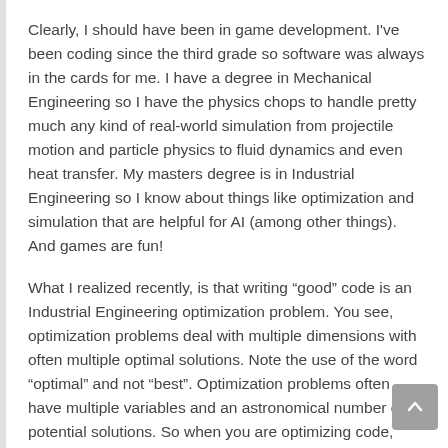Clearly, I should have been in game development. I've been coding since the third grade so software was always in the cards for me. I have a degree in Mechanical Engineering so I have the physics chops to handle pretty much any kind of real-world simulation from projectile motion and particle physics to fluid dynamics and even heat transfer. My masters degree is in Industrial Engineering so I know about things like optimization and simulation that are helpful for AI (among other things). And games are fun!
What I realized recently, is that writing “good” code is an Industrial Engineering optimization problem. You see, optimization problems deal with multiple dimensions with often multiple optimal solutions. Note the use of the word “optimal” and not “best”. Optimization problems often have multiple variables and an astronomical number of potential solutions. So when you are optimizing code, what is your goal? Maximize